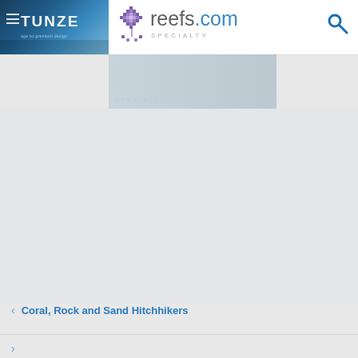reefs.com SPECIALTY
[Figure (logo): TUNZE brand banner with blue gradient background and white text]
[Figure (logo): reefs.com logo with coral/tree pixel icon and SPECIALTY subtitle]
[Figure (logo): Search icon (magnifying glass) in blue]
< Coral, Rock and Sand Hitchhikers